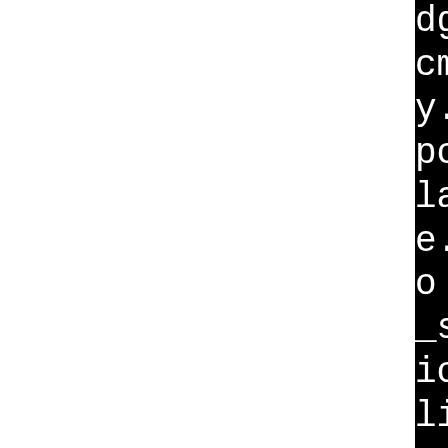dg.lo pcm_multi.lo pcm_shm_file.lo pcm_null.lo pcm_y.lo pcm_share.lo pcm_meter.lo pcm_hooks.lo pcm_lfloat.lo pcm_ladspa.lo pcm_dmix.lo pcm_dshare.lo pcm_dsnoop.lo pcm_direct.o pcm_asym.lo pcm_iec958.lo pcm_softvol.lo pcm_extplug.lo pcm_ioplug.lo pcm_mmap_emul.lo libtool: link: ar cru .lib pcm.a mask.o interval.o pcm_params.o pcm_simple.o pcm_hw.o pcm_misc.o pcm_mmap.o pcm_symbols.o pcm_generic.o pcm_plugin.o pcm_copy.o pcm_linear.o pcm_route.o pcm_mulaw.o pcm_alaw.o pcm_adpcm.o pcm_rate.o pcm_rate_linear.o pcm_plug.o pcm_multi.o pcm_shm.o pcm_file.o pcm_null.o pcm_ll.o pcm_empty.o pcm_share.o pcm_meter.o pcm_hooks.o pcm_lfloat.o pcm_ladspa.o pcm_dmix.o pcm_dshare.o pcm_dsnoop.o pcm_direct.o pcm_asym.o pcm_iec958.o pcm_ct.o pcm_asym.o pcm_iec958